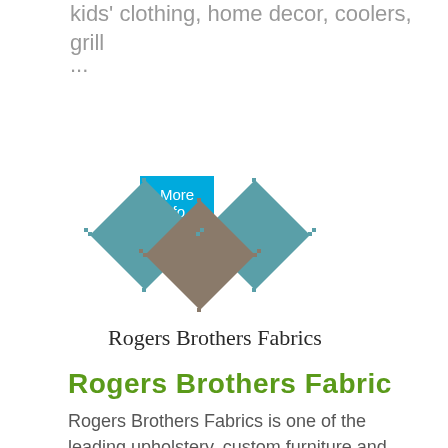kids' clothing, home decor, coolers, grill ...
More Info
[Figure (logo): Rogers Brothers Fabrics logo with three overlapping diamond shapes in teal, brown/taupe, and teal colors above the text 'Rogers Brothers Fabrics']
Rogers Brothers Fabric
Rogers Brothers Fabrics is one of the leading upholstery, custom furniture and home decorating stores in the Carolinas. Rogers Brothers ...